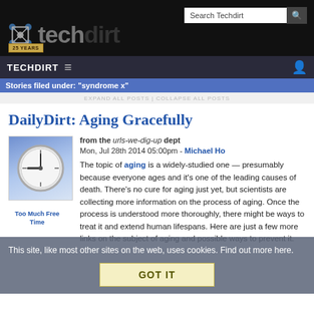Techdirt — Search Techdirt
[Figure (logo): Techdirt logo with hexagonal icon and '25 YEARS' badge on black background]
TECHDIRT ≡  (user icon)
Stories filed under: "syndrome x"
EXPAND ALL POSTS | COLLAPSE ALL POSTS
DailyDirt: Aging Gracefully
from the urls-we-dig-up dept
Mon, Jul 28th 2014 05:00pm - Michael Ho
The topic of aging is a widely-studied one — presumably because everyone ages and it's one of the leading causes of death. There's no cure for aging just yet, but scientists are collecting more information on the process of aging. Once the process is understood more thoroughly, there might be ways to treat it and extend human lifespans. Here are just a few more links on the subject of aging and possible ways to prevent it.
This site, like most other sites on the web, uses cookies. Find out more here.  GOT IT